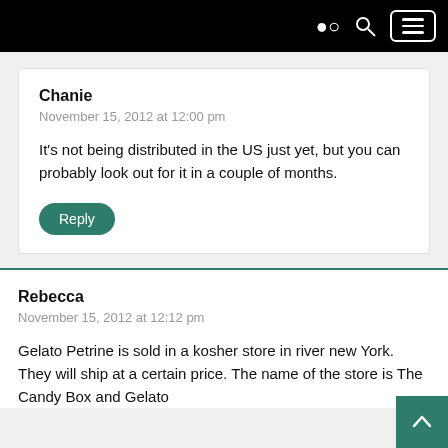Chanie
November 15, 2012 at 12:00 pm
It's not being distributed in the US just yet, but you can probably look out for it in a couple of months.
Rebecca
November 15, 2012 at 12:12 pm
Gelato Petrine is sold in a kosher store in river new York. They will ship at a certain price. The name of the store is The Candy Box and Gelato